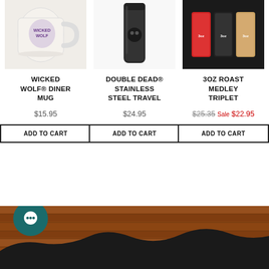[Figure (photo): White ceramic mug with Wicked Wolf logo/illustration]
WICKED WOLF® DINER MUG
$15.95
ADD TO CART
[Figure (photo): Black stainless steel travel mug with skull logo]
DOUBLE DEAD® STAINLESS STEEL TRAVEL
$24.95
ADD TO CART
[Figure (photo): Three small 3oz roast medley coffee packages in red, black, and tan]
3OZ ROAST MEDLEY TRIPLET
$25.35 Sale $22.95
ADD TO CART
[Figure (photo): Footer background with wood plank texture, dark silhouette mountains, and a teal chat bubble icon]